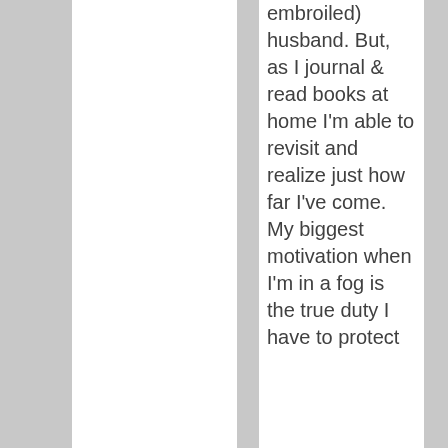embroiled) husband. But, as I journal & read books at home I'm able to revisit and realize just how far I've come. My biggest motivation when I'm in a fog is the true duty I have to protect